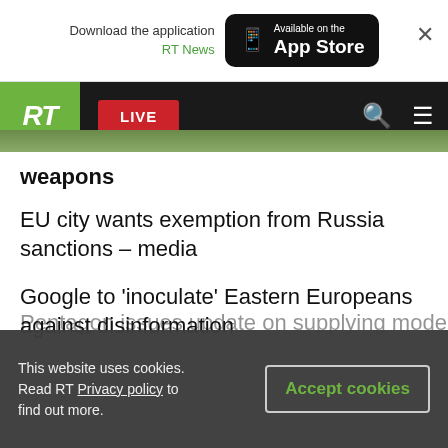[Figure (screenshot): RT News app download banner with App Store button and close X]
[Figure (screenshot): RT News website navigation bar with green RT logo, red LIVE button, search and menu icons]
weapons
EU city wants exemption from Russia sanctions – media
Google to 'inoculate' Eastern Europeans against disinformation
Ukraine strikes chemical plant – DPR
Germans warned of toilet paper shortage
Pentagon issues update on supplying modern
This website uses cookies. Read RT Privacy policy to find out more.